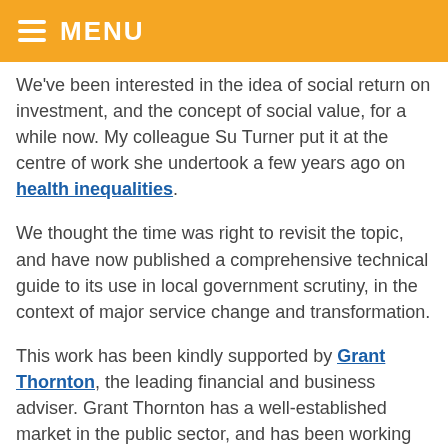MENU
We've been interested in the idea of social return on investment, and the concept of social value, for a while now. My colleague Su Turner put it at the centre of work she undertook a few years ago on health inequalities.
We thought the time was right to revisit the topic, and have now published a comprehensive technical guide to its use in local government scrutiny, in the context of major service change and transformation.
This work has been kindly supported by Grant Thornton, the leading financial and business adviser. Grant Thornton has a well-established market in the public sector, and has been working with local authorities for over 30 years. Given that they are the largest auditors of local government,